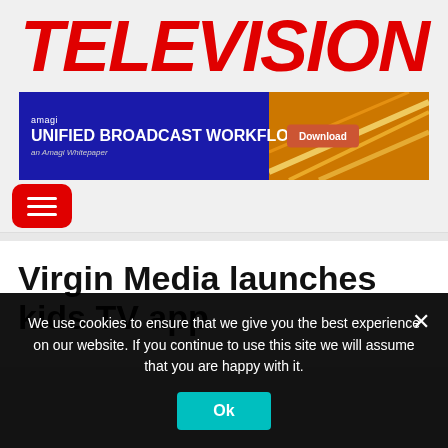TELEVISION
[Figure (screenshot): Amagi advertisement banner: dark blue background with text 'amagi UNIFIED BROADCAST WORKFLOWS an Amagi Whitepaper' and a Download button, with a photo of highway lights on the right.]
[Figure (infographic): Red rounded-rectangle hamburger menu button with three white horizontal lines]
Virgin Media launches kids TV app
We use cookies to ensure that we give you the best experience on our website. If you continue to use this site we will assume that you are happy with it.
Ok